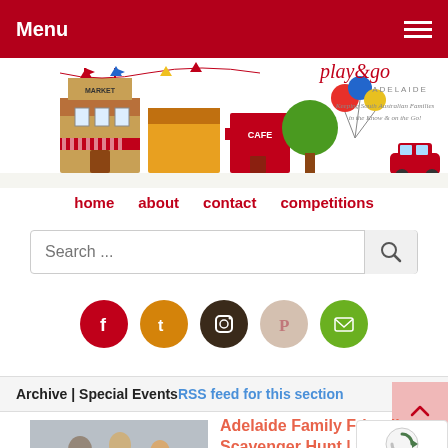Menu
[Figure (illustration): Play and Go Adelaide website header banner with illustrated buildings (market, cafe), trees, balloons, and a red car. Tagline: Keeping South Australian Families in the Know & on the Go!]
home  about  contact  competitions
Search ...
[Figure (infographic): Row of 5 social media icons: Facebook (red), Tumblr (orange), Instagram (dark brown), Pinterest (beige/pink), Email (green)]
Archive | Special EventsRSS feed for this section
[Figure (photo): Family photo showing adults and children playing/dancing in front of a white brick wall]
Adelaide Family Friendly Scavenger Hunt | 2019 2020